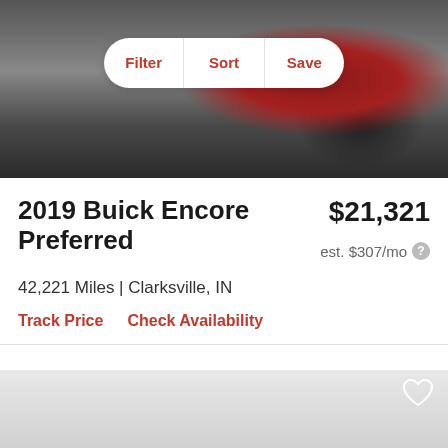[Figure (photo): Red 2019 Buick Encore SUV photographed from the front, shown in a parking lot. The image is partially cropped showing the front grille, headlights, and windshield area.]
Filter | Sort | Save
2019 Buick Encore Preferred
$21,321
est. $307/mo
42,221 Miles | Clarksville, IN
Track Price   Check Availability
[Figure (photo): Partial view of second car listing card below, showing a gray gradient background with a heart/save icon in the upper right and a gray placeholder rectangle at the bottom.]